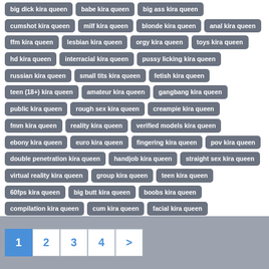big dick kira queen
babe kira queen
big ass kira queen
cumshot kira queen
milf kira queen
blonde kira queen
anal kira queen
ffm kira queen
lesbian kira queen
orgy kira queen
toys kira queen
hd kira queen
interracial kira queen
pussy licking kira queen
russian kira queen
small tits kira queen
fetish kira queen
teen (18+) kira queen
amateur kira queen
gangbang kira queen
public kira queen
rough sex kira queen
creampie kira queen
fmm kira queen
reality kira queen
verified models kira queen
ebony kira queen
euro kira queen
fingering kira queen
pov kira queen
double penetration kira queen
handjob kira queen
straight sex kira queen
virtual reality kira queen
group kira queen
teen kira queen
60fps kira queen
big butt kira queen
boobs kira queen
compilation kira queen
cum kira queen
facial kira queen
female orgasm kira queen
1 2 3 4 >